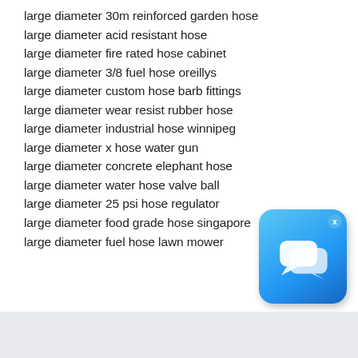large diameter 30m reinforced garden hose
large diameter acid resistant hose
large diameter fire rated hose cabinet
large diameter 3/8 fuel hose oreillys
large diameter custom hose barb fittings
large diameter wear resist rubber hose
large diameter industrial hose winnipeg
large diameter x hose water gun
large diameter concrete elephant hose
large diameter water hose valve ball
large diameter 25 psi hose regulator
large diameter food grade hose singapore
large diameter fuel hose lawn mower
[Figure (illustration): Blue chat/messaging app icon with speech bubbles and an X close button in the top right corner]
[Figure (illustration): Dark/black scroll-to-top button with double chevron/arrow up icon]